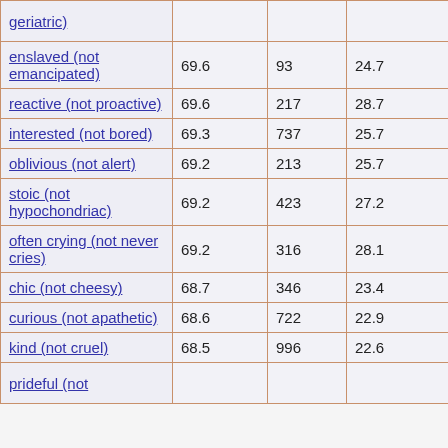| Trait | Col1 | Col2 | Col3 | Col4 |
| --- | --- | --- | --- | --- |
| geriatric) |  |  |  |  |
| enslaved (not emancipated) | 69.6 | 93 | 24.7 | 92 |
| reactive (not proactive) | 69.6 | 217 | 28.7 | 22 |
| interested (not bored) | 69.3 | 737 | 25.7 | 14 |
| oblivious (not alert) | 69.2 | 213 | 25.7 | 13 |
| stoic (not hypochondriac) | 69.2 | 423 | 27.2 | 13 |
| often crying (not never cries) | 69.2 | 316 | 28.1 | 13 |
| chic (not cheesy) | 68.7 | 346 | 23.4 | 8 |
| curious (not apathetic) | 68.6 | 722 | 22.9 | 122 |
| kind (not cruel) | 68.5 | 996 | 22.6 | 111 |
| prideful (not ... |  |  |  |  |